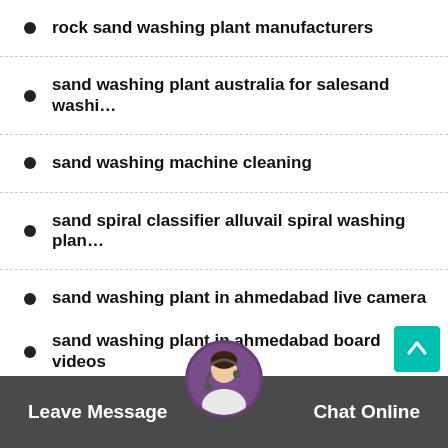rock sand washing plant manufacturers
sand washing plant australia for salesand washi…
sand washing machine cleaning
sand spiral classifier alluvail spiral washing plan…
sand washing plant in ahmedabad live camera
sand washing plant in ahmedabad united states …
sand washing plant in ahmedabad city yellow
sand washing plant in ahmedabad board videos